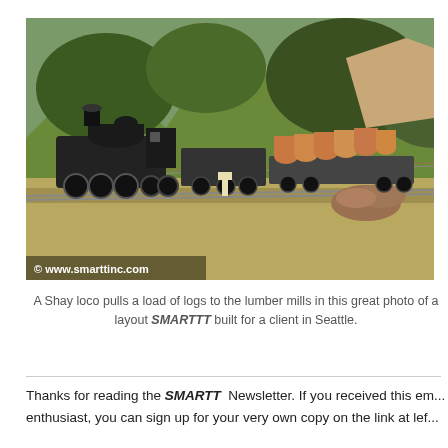[Figure (photo): A model railroad scene: a Shay locomotive pulling flatcars loaded with logs, set against a backdrop of trees and mountains. The photo is watermarked with '© www.smarttinc.com' in the lower left corner.]
A Shay loco pulls a load of logs to the lumber mills in this great photo of a layout SMARTTT built for a client in Seattle.
Thanks for reading the SMARTT Newsletter. If you received this email as an enthusiast, you can sign up for your very own copy on the link at left...